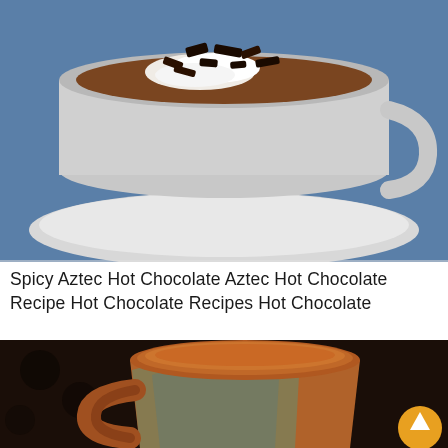[Figure (photo): A white ceramic mug on a white saucer filled with hot chocolate, topped with whipped cream and dark chocolate shavings, against a blue background]
Spicy Aztec Hot Chocolate Aztec Hot Chocolate Recipe Hot Chocolate Recipes Hot Chocolate
[Figure (photo): A rustic ceramic/pottery mug with earthy brown and teal glaze filled with hot chocolate with a reddish-orange spiced surface, against a dark background]